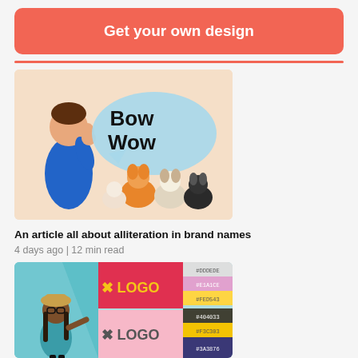Get your own design
[Figure (illustration): Illustration of a person listening with a speech bubble saying 'Bow Wow' surrounded by cartoon dogs]
An article all about alliteration in brand names
4 days ago | 12 min read
[Figure (illustration): Design mockup showing a character pointing at logo color palettes with hex codes like #DDDEDE, #E1A1CE, #FED543, #404033, #F3C303, #3A3876, #2573B0, #FEFEFE]